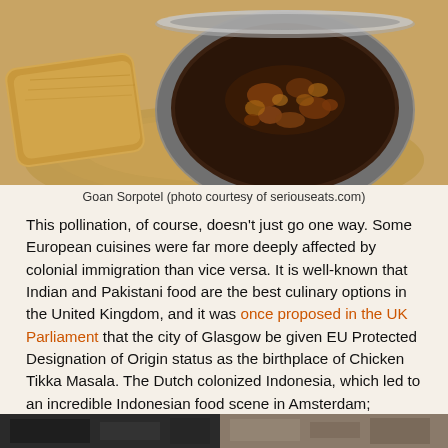[Figure (photo): Photo of Goan Sorpotel in a metal bowl with bread, placed on a wooden surface]
Goan Sorpotel (photo courtesy of seriouseats.com)
This pollination, of course, doesn't just go one way. Some European cuisines were far more deeply affected by colonial immigration than vice versa. It is well-known that Indian and Pakistani food are the best culinary options in the United Kingdom, and it was once proposed in the UK Parliament that the city of Glasgow be given EU Protected Designation of Origin status as the birthplace of Chicken Tikka Masala. The Dutch colonized Indonesia, which led to an incredible Indonesian food scene in Amsterdam; notably, Rijsttaffel (“rice table”) restaurants have flourished in the Dutch capital, offering dozens of small side dishes served with rice. This was a Dutch invention, as the colonizers wanted to fill their tables with exotic fare; when they left, the tradition retreated as well and exists mostly in the Netherlands.
[Figure (photo): Bottom portion of another food photograph, partially visible]